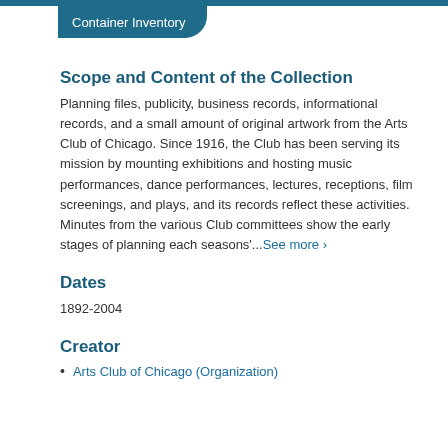Container Inventory
Scope and Content of the Collection
Planning files, publicity, business records, informational records, and a small amount of original artwork from the Arts Club of Chicago. Since 1916, the Club has been serving its mission by mounting exhibitions and hosting music performances, dance performances, lectures, receptions, film screenings, and plays, and its records reflect these activities. Minutes from the various Club committees show the early stages of planning each seasons'...See more ›
Dates
1892-2004
Creator
Arts Club of Chicago (Organization)